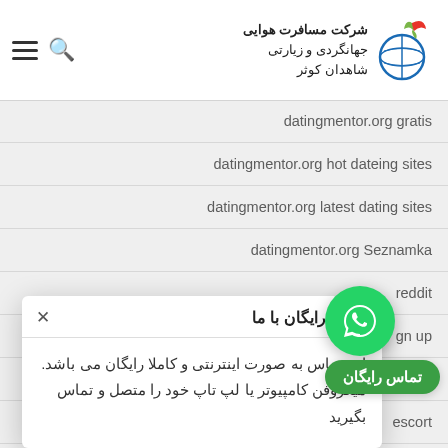شرکت مسافرت هوایی جهانگردی و زیارتی شاهدان کوثر
datingmentor.org gratis
datingmentor.org hot dateing sites
datingmentor.org latest dating sites
datingmentor.org Seznamka
reddit
gn up
cenze
[Figure (other): Modal popup with title تماس رایگان با ما and body text in Persian, with close X button]
این تماس به صورت اینترنتی و کاملا رایگان می باشد. میکروفن کامپیوتر یا لپ تاپ خود را متصل و تماس بگیرید
davenport escort
davenport escort
davenport escort service
[Figure (other): WhatsApp green circular phone icon button with تماس رایگان label below]